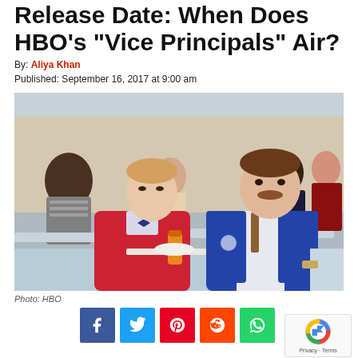Release Date: When Does HBO's “Vice Principals” Air?
By: Aliya Khan
Published: September 16, 2017 at 9:00 am
[Figure (photo): Two men sitting at a cafeteria table. The man on the left wears a red blazer and bow tie. The man on the right wears a blue vest. School cafeteria setting with other students visible in the background.]
Photo: HBO
[Figure (infographic): Social media share buttons: Facebook, Twitter, Pinterest, Reddit, WhatsApp]